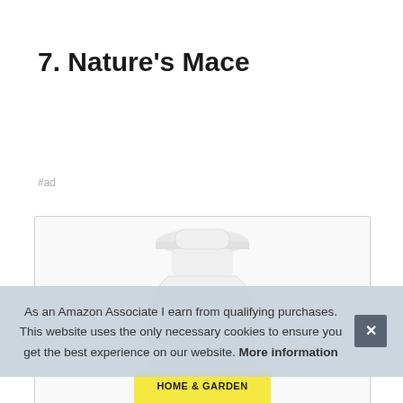7. Nature's Mace
#ad
[Figure (photo): A white plastic bottle of Nature's Mace product with a white cap, partially visible, with a yellow and black label at the bottom reading HOME & GARDEN]
As an Amazon Associate I earn from qualifying purchases. This website uses the only necessary cookies to ensure you get the best experience on our website. More information